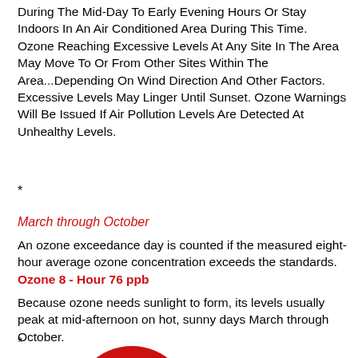During The Mid-Day To Early Evening Hours Or Stay Indoors In An Air Conditioned Area During This Time. Ozone Reaching Excessive Levels At Any Site In The Area May Move To Or From Other Sites Within The Area...Depending On Wind Direction And Other Factors. Excessive Levels May Linger Until Sunset. Ozone Warnings Will Be Issued If Air Pollution Levels Are Detected At Unhealthy Levels.
*
March through October
An ozone exceedance day is counted if the measured eight-hour average ozone concentration exceeds the standards. Ozone 8 - Hour 76 ppb
Because ozone needs sunlight to form, its levels usually peak at mid-afternoon on hot, sunny days March through October.
*
[Figure (illustration): Partial red circular shape visible at bottom of page]